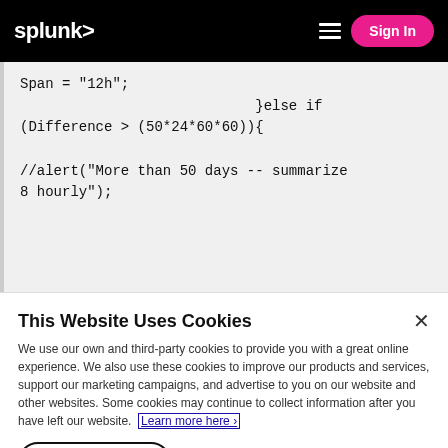splunk> Sign In
Span = "12h";
}else if
(Difference > (50*24*60*60)){

//alert("More than 50 days -- summarize 8 hourly");
This Website Uses Cookies
We use our own and third-party cookies to provide you with a great online experience. We also use these cookies to improve our products and services, support our marketing campaigns, and advertise to you on our website and other websites. Some cookies may continue to collect information after you have left our website. Learn more here ›
Accept Cookies   Cookies Settings ›